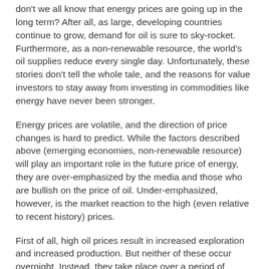don't we all know that energy prices are going up in the long term? After all, as large, developing countries continue to grow, demand for oil is sure to sky-rocket. Furthermore, as a non-renewable resource, the world's oil supplies reduce every single day. Unfortunately, these stories don't tell the whole tale, and the reasons for value investors to stay away from investing in commodities like energy have never been stronger.
Energy prices are volatile, and the direction of price changes is hard to predict. While the factors described above (emerging economies, non-renewable resource) will play an important role in the future price of energy, they are over-emphasized by the media and those who are bullish on the price of oil. Under-emphasized, however, is the market reaction to the high (even relative to recent history) prices.
First of all, high oil prices result in increased exploration and increased production. But neither of these occur overnight. Instead, they take place over a period of several years, as labour and capital is shifted to the energy sector in order to derive strong returns. We saw this effect taking place in the